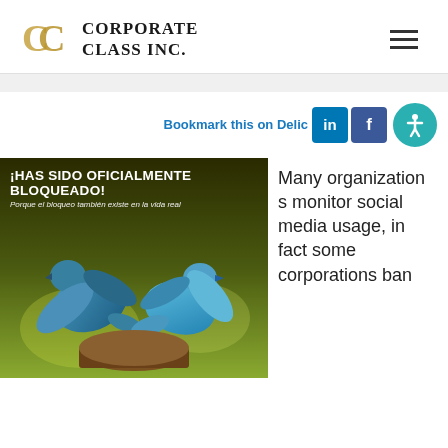[Figure (logo): Corporate Class Inc. logo with golden overlapping C letters and serif text 'CORPORATE CLASS INC.']
Bookmark this on Delicio
[Figure (infographic): Image of two blue birds appearing to fight, with Spanish text overlay: '¡HAS SIDO OFICIALMENTE BLOQUEADO! Porque el bloqueo también existe en la vida real']
Many organizations monitor social media usage, in fact some corporations ban